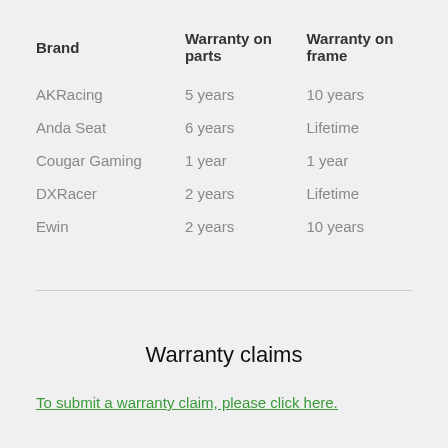| Brand | Warranty on parts | Warranty on frame |
| --- | --- | --- |
| AKRacing | 5 years | 10 years |
| Anda Seat | 6 years | Lifetime |
| Cougar Gaming | 1 year | 1 year |
| DXRacer | 2 years | Lifetime |
| Ewin | 2 years | 10 years |
Warranty claims
To submit a warranty claim, please click here.